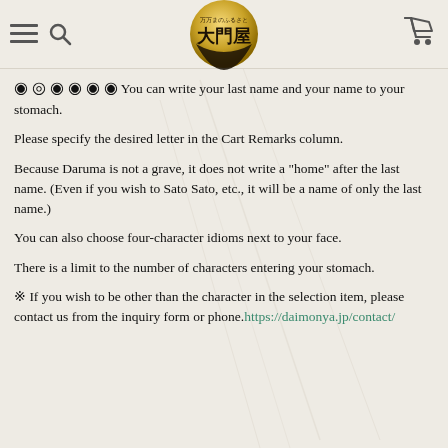大門屋 (Daimonya) - page header with logo and nav icons
◉ ◎ ◉ ◉ ◉ ◉ You can write your last name and your name to your stomach.
Please specify the desired letter in the Cart Remarks column.
Because Daruma is not a grave, it does not write a "home" after the last name. (Even if you wish to Sato Sato, etc., it will be a name of only the last name.)
You can also choose four-character idioms next to your face.
There is a limit to the number of characters entering your stomach.
※ If you wish to be other than the character in the selection item, please contact us from the inquiry form or phone.https://daimonya.jp/contact/